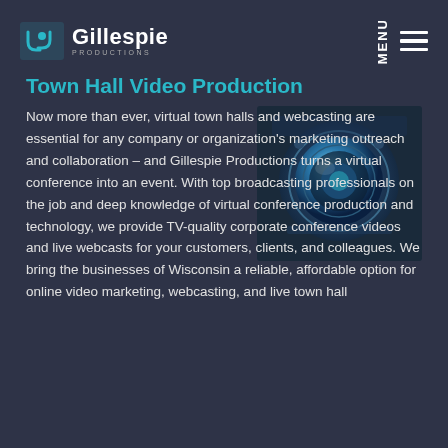Gillespie Productions — MENU
Town Hall Video Production
[Figure (photo): Close-up photo of professional broadcasting/camera equipment with blue lighting tones]
Now more than ever, virtual town halls and webcasting are essential for any company or organization's marketing outreach and collaboration – and Gillespie Productions turns a virtual conference into an event. With top broadcasting professionals on the job and deep knowledge of virtual conference production and technology, we provide TV-quality corporate conference videos and live webcasts for your customers, clients, and colleagues. We bring the businesses of Wisconsin a reliable, affordable option for online video marketing, webcasting, and live town hall